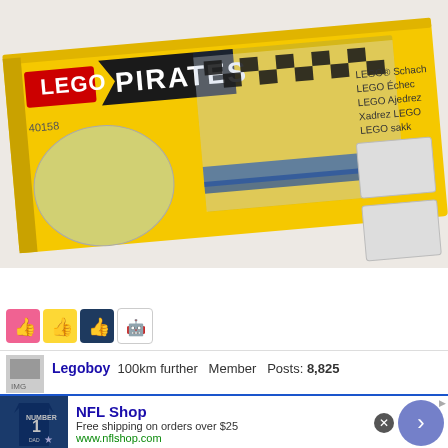[Figure (photo): Photo of the back of a LEGO Pirates Chess set box (set 40158). The yellow box shows the chess pieces arranged on a chess board with pirate and imperial soldier LEGO minifigures. Text on box reads: LEGO Schach, LEGO Echec, LEGO Ajedrez, Xadrez LEGO, LEGO sakk.]
[Figure (infographic): Row of four reaction/like buttons: pink thumbs-up, yellow thumbs-up, dark blue thumbs-up, and a plain thumbs-up with robot icon.]
Legoboy 100km further   Member   Posts: 8,825
[Figure (infographic): Advertisement for NFL Shop. Free shipping on orders over $25. www.nflshop.com. Shows a Dallas Cowboys jersey on left, navigation arrow button on right.]